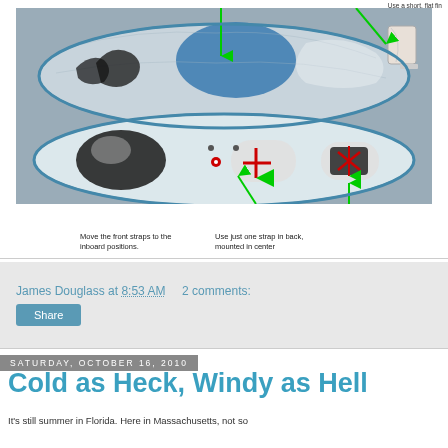[Figure (photo): Two surfboards (top and bottom views) with green arrows annotating strap positions and a fin. Red arrows and markers on the boards indicate strap mounting positions. Green arrows point to front straps and back strap positions.]
Move the front straps to the inboard positions.
Use just one strap in back, mounted in center
James Douglass at 8:53 AM   2 comments:
Share
Saturday, October 16, 2010
Cold as Heck, Windy as Hell
It's still summer in Florida. Here in Massachusetts, not so